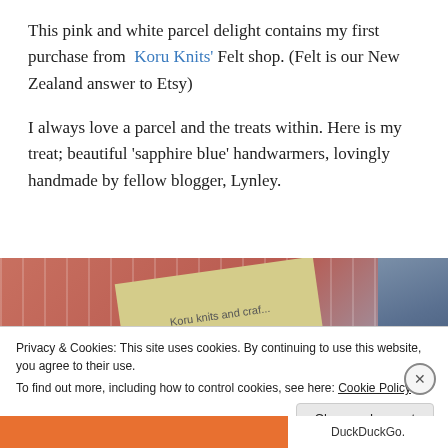This pink and white parcel delight contains my first purchase from Koru Knits' Felt shop. (Felt is our New Zealand answer to Etsy)

I always love a parcel and the treats within. Here is my treat; beautiful 'sapphire blue' handwarmers, lovingly handmade by fellow blogger, Lynley.
[Figure (photo): Photo of a pink and white striped fabric/parcel with a yellowish gift tag reading 'Koru knits and craf...' and a blue denim item partially visible at top right.]
Privacy & Cookies: This site uses cookies. By continuing to use this website, you agree to their use.
To find out more, including how to control cookies, see here: Cookie Policy